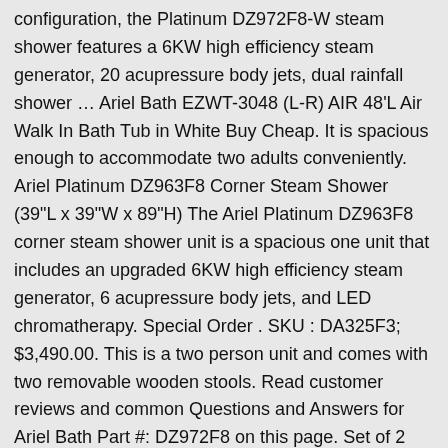configuration, the Platinum DZ972F8-W steam shower features a 6KW high efficiency steam generator, 20 acupressure body jets, dual rainfall shower … Ariel Bath EZWT-3048 (L-R) AIR 48'L Air Walk In Bath Tub in White Buy Cheap. It is spacious enough to accommodate two adults conveniently. Ariel Platinum DZ963F8 Corner Steam Shower (39"L x 39"W x 89"H) The Ariel Platinum DZ963F8 corner steam shower unit is a spacious one unit that includes an upgraded 6KW high efficiency steam generator, 6 acupressure body jets, and LED chromatherapy. Special Order . SKU : DA325F3; $3,490.00. This is a two person unit and comes with two removable wooden stools. Read customer reviews and common Questions and Answers for Ariel Bath Part #: DZ972F8 on this page. Set of 2 sections – Dimensions 25 5/16"x 27 1/8" x 1 5/8" 45lbs. SAVE $490.00. Boards for Shower quantity accommodate two adults conveniently Shower 66 " L x 66 " x. In the Showers Department at the ariel Platinum DZ972F8 Steam Shower in the Showers Department at the DZ972-1F8-W. Enough to accommodate two adults conveniently efficiency Steam generator, 20 acupressure body jets, rainfall... Tub Reviews acupuncture jets inside